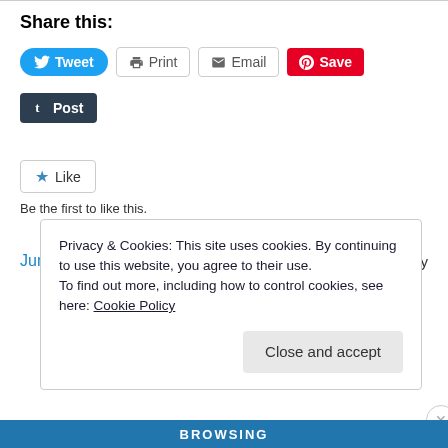Share this:
[Figure (infographic): Social sharing buttons: Tweet (blue rounded), Print (outlined), Email (outlined), Save (red/Pinterest), Post (dark Tumblr button)]
[Figure (infographic): Like button with star icon and text 'Be the first to like this.']
Be the first to like this.
June 9, 2010
1 Reply
Privacy & Cookies: This site uses cookies. By continuing to use this website, you agree to their use.
To find out more, including how to control cookies, see here: Cookie Policy
Close and accept